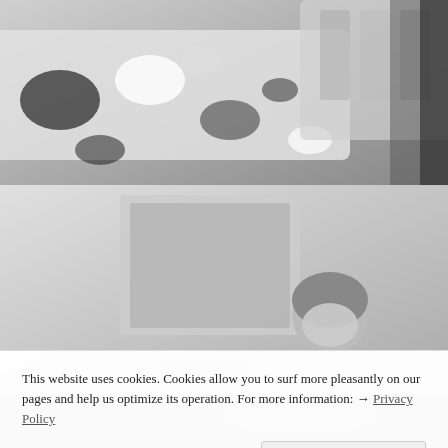[Figure (photo): Black and white overhead photo of an artist's paint palette/tray with paint splotches and art supplies on a table]
[Figure (photo): Black and white photo of an artist in a headscarf working in a studio, surrounded by paintings and art books on shelves]
[Figure (photo): Black and white photo, partial view at bottom of page showing more studio or artwork]
This website uses cookies. Cookies allow you to surf more pleasantly on our pages and help us optimize its operation. For more information: → Privacy Policy
Close and Accept